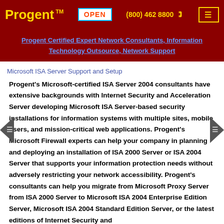Progent ™  OPEN  (800) 462 8800  ☎
Progent Certified Expert Network Consultants, Information Technology Outsource, Network Support
Microsoft ISA Server Support and Setup
Progent's Microsoft-certified ISA Server 2004 consultants have extensive backgrounds with Internet Security and Acceleration Server developing Microsoft ISA Server-based security installations for information systems with multiple sites, mobile users, and mission-critical web applications. Progent's Microsoft Firewall experts can help your company in planning and deploying an installation of ISA 2000 Server or ISA 2004 Server that supports your information protection needs without adversely restricting your network accessibility. Progent's consultants can help you migrate from Microsoft Proxy Server from ISA 2000 Server to Microsoft ISA 2004 Enterprise Edition Server, Microsoft ISA 2004 Standard Edition Server, or the latest editions of Internet Security and